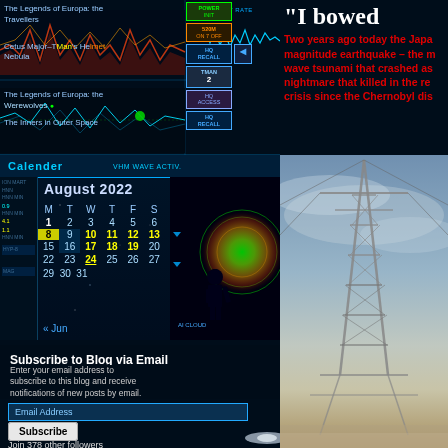[Figure (screenshot): Sci-fi dashboard interface showing waveform charts, program listings including 'The Legends of Europa', 'The Werewolves', 'The Inners in Outer Space' with HQ RECALL and HQ ACCESS buttons, and a velocity rate waveform display]
“I bowed
Two years ago today the Japan magnitude earthquake – the m wave tsunami that crashed as nightmare that killed in the re crisis since the Chernobyl dis
[Figure (screenshot): Calendar widget showing August 2022 with VHM WAVE ACTIV. panel and silhouette figure, and left sidebar stats]
Subscribe to Blog via Email
Enter your email address to subscribe to this blog and receive notifications of new posts by email.
Email Address
Subscribe
Join 378 other followers
[Figure (photo): Power transmission tower/electricity pylon against a pale sky with desert landscape below]